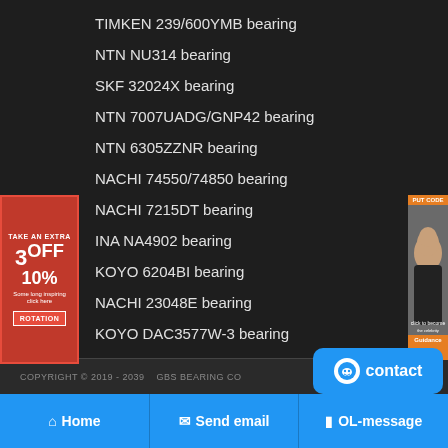TIMKEN 239/600YMB bearing
NTN NU314 bearing
SKF 32024X bearing
NTN 7007UADG/GNP42 bearing
NTN 6305ZZNR bearing
NACHI 74550/74850 bearing
NACHI 7215DT bearing
INA NA4902 bearing
KOYO 6204BI bearing
NACHI 23048E bearing
KOYO DAC3577W-3 bearing
[Figure (infographic): Left advertisement banner: red background with '3 OFF 10%' promotional text and a call-to-action button]
[Figure (photo): Right advertisement banner: orange background with a woman's face photo]
COPYRIGHT © 2019 - 2039   GBS BEARING CO
contact
Home
Send email
OL-message